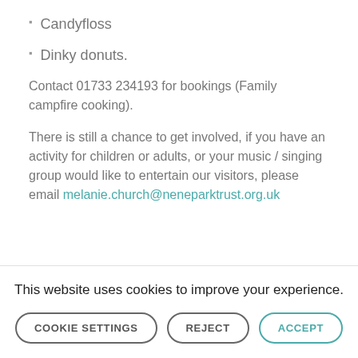Candyfloss
Dinky donuts.
Contact 01733 234193 for bookings (Family campfire cooking).
There is still a chance to get involved, if you have an activity for children or adults, or your music / singing group would like to entertain our visitors, please email melanie.church@neneparktrust.org.uk
This website uses cookies to improve your experience.